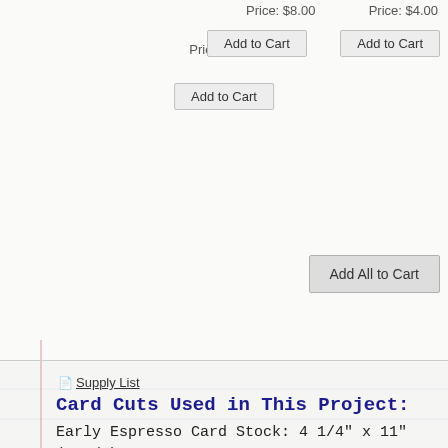Price: $8.00
Price: $7.50
Price: $4.00
Add to Cart
Add to Cart
Add to Cart
Add All to Cart
Supply List
Card Cuts Used in This Project:
Early Espresso Card Stock: 4 1/4" x 11" (card base, sco
Just Jade Card Stock: 5" x 3 3/4" (mats for card fron
Whisper White Card Stock: 4 7/8" x 3 5/8" (inner liner) (sentiment)
Rainbow Glimmer Paper: Butterfly Beauty Die cut butt
Flowers for Every Season DSP: 4 1/4" x 5 1/2" (card fra envelope flap